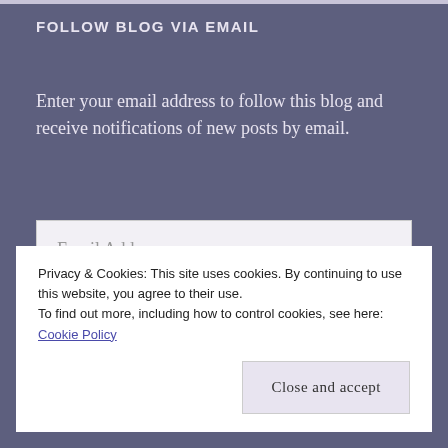FOLLOW BLOG VIA EMAIL
Enter your email address to follow this blog and receive notifications of new posts by email.
Email Address
FOLLOW
Privacy & Cookies: This site uses cookies. By continuing to use this website, you agree to their use.
To find out more, including how to control cookies, see here: Cookie Policy
Close and accept